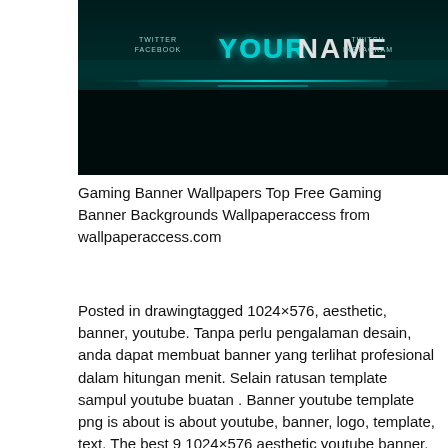[Figure (illustration): A dark gaming channel YouTube banner with teal/cyan glowing text reading 'YOURNAME' in the center, with smaller text 'TWITTER FACEBOOK' on the left and 'TWITCH INSTAGRAM' on the right. The background is a very dark teal/black gradient.]
Gaming Banner Wallpapers Top Free Gaming Banner Backgrounds Wallpaperaccess from wallpaperaccess.com
Posted in drawingtagged 1024×576, aesthetic, banner, youtube. Tanpa perlu pengalaman desain, anda dapat membuat banner yang terlihat profesional dalam hitungan menit. Selain ratusan template sampul youtube buatan . Banner youtube template png is about is about youtube, banner, logo, template, text. The best 9 1024×576 aesthetic youtube banner. Banner youtube